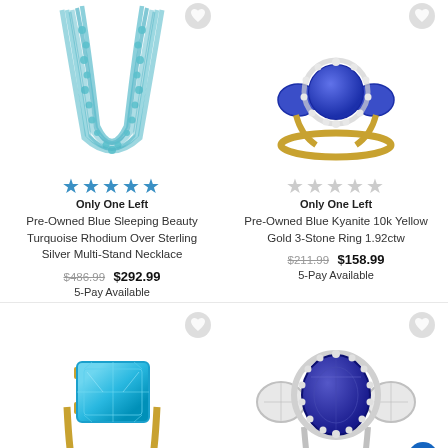[Figure (photo): Multi-strand turquoise chip bead necklace on white background with gray heart wishlist icon]
★★★★★
Only One Left
Pre-Owned Blue Sleeping Beauty Turquoise Rhodium Over Sterling Silver Multi-Stand Necklace
$486.99  $292.99
5-Pay Available
[Figure (photo): Blue kyanite three-stone ring in yellow gold with diamond halo, white background, gray heart wishlist icon]
★★★★★
Only One Left
Pre-Owned Blue Kyanite 10k Yellow Gold 3-Stone Ring 1.92ctw
$211.99  $158.99
5-Pay Available
[Figure (photo): Blue topaz emerald cut ring in yellow gold, white background, gray heart wishlist icon]
[Figure (photo): Blue sapphire oval ring with white diamond cluster in silver setting, white background, gray heart wishlist icon]